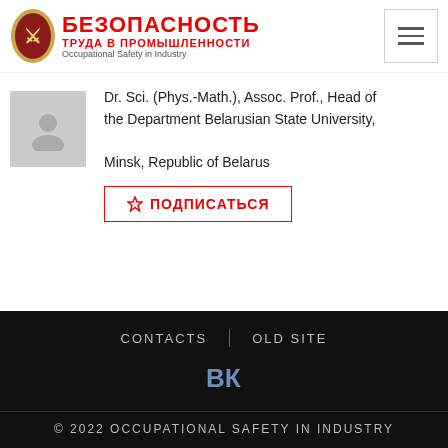[Figure (logo): Bezopasnost Truda v Promyshlennosti (Occupational Safety in Industry) journal logo with red Cyrillic text and emblem icon]
Dr. Sci. (Phys.-Math.), Assoc. Prof., Head of the Department Belarusian State University, Minsk, Republic of Belarus
☆ ПОДПИСАТЬСЯ
CONTACTS | OLD SITE
VK
© 2022 OCCUPATIONAL SAFETY IN INDUSTRY